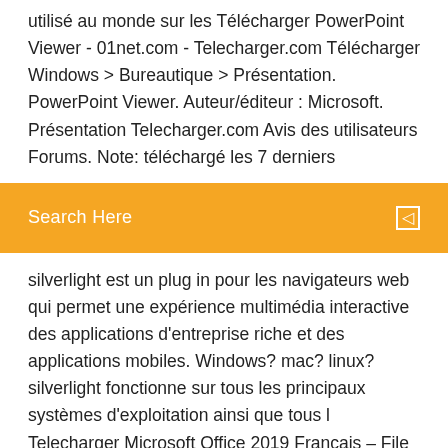utilisé au monde sur les Télécharger PowerPoint Viewer - 01net.com - Telecharger.com Télécharger Windows > Bureautique > Présentation. PowerPoint Viewer. Auteur/éditeur : Microsoft. Présentation Telecharger.com Avis des utilisateurs Forums. Note: téléchargé les 7 derniers
[Figure (other): Orange search bar with text 'Search Here' and a search icon on the right]
silverlight est un plug in pour les navigateurs web qui permet une expérience multimédia interactive des applications d'entreprise riche et des applications mobiles. Windows? mac? linux? silverlight fonctionne sur tous les principaux systèmes d'exploitation ainsi que tous l Telecharger Microsoft Office 2019 Francais – File Filehippo Telecharger Microsoft Office 2019 Francais Gratuit For Windows 10 / 10 64 bit / 8.1 / 8 / XP / Windows 7 / Vista , Mac OS X v10.10, v10.11, v10.12, Office 2013 à télécharger - Logiciel Windows 7, Windows 8 ...